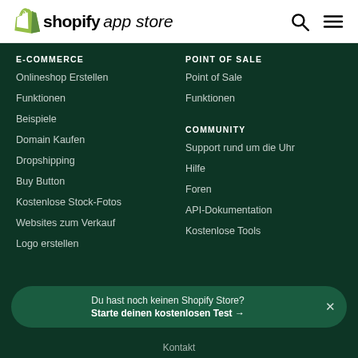shopify app store
E-COMMERCE
Onlineshop Erstellen
Funktionen
Beispiele
Domain Kaufen
Dropshipping
Buy Button
Kostenlose Stock-Fotos
Websites zum Verkauf
Logo erstellen
POINT OF SALE
Point of Sale
Funktionen
COMMUNITY
Support rund um die Uhr
Hilfe
Foren
API-Dokumentation
Kostenlose Tools
Du hast noch keinen Shopify Store?
Starte deinen kostenlosen Test →
Kontakt